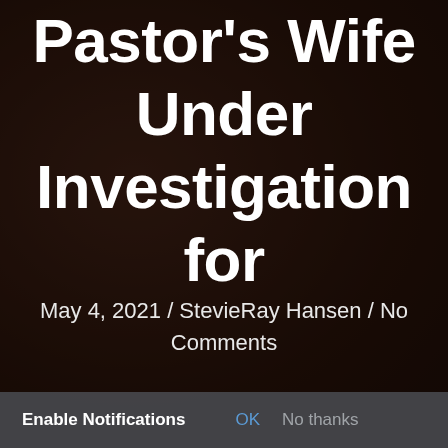Pastor's Wife Under Investigation for
May 4, 2021 / StevieRay Hansen / No Comments
Enable Notifications   OK   No thanks